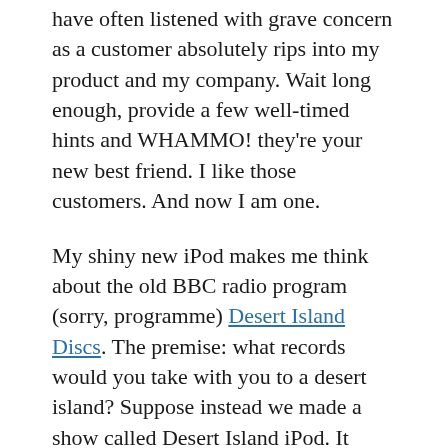have often listened with grave concern as a customer absolutely rips into my product and my company. Wait long enough, provide a few well-timed hints and WHAMMO! they're your new best friend. I like those customers. And now I am one.
My shiny new iPod makes me think about the old BBC radio program (sorry, programme) Desert Island Discs. The premise: what records would you take with you to a desert island? Suppose instead we made a show called Desert Island iPod. It might work something like this.
HOST: Hello and welcome to our show. Tell us, what would you put on your Desert Island iPod?